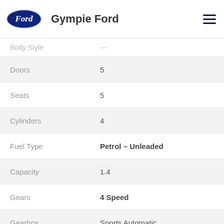Gympie Ford
| Attribute | Value |
| --- | --- |
| Body Style | --- |
| Doors | 5 |
| Seats | 5 |
| Cylinders | 4 |
| Fuel Type | Petrol – Unleaded |
| Capacity | 1.4 |
| Gears | 4 Speed |
| Gearbox | Sports Automatic |
CONTACT US
FINANCE THIS VEHICLE